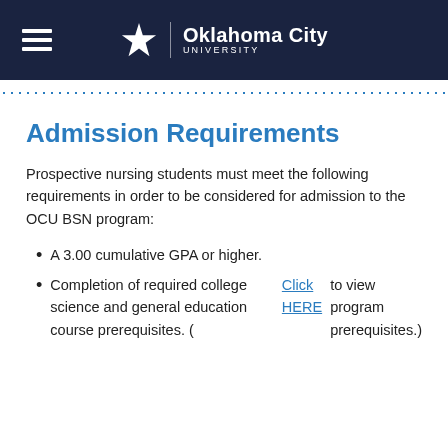Oklahoma City University
Admission Requirements
Prospective nursing students must meet the following requirements in order to be considered for admission to the OCU BSN program:
A 3.00 cumulative GPA or higher.
Completion of required college science and general education course prerequisites. (Click HERE to view program prerequisites.)